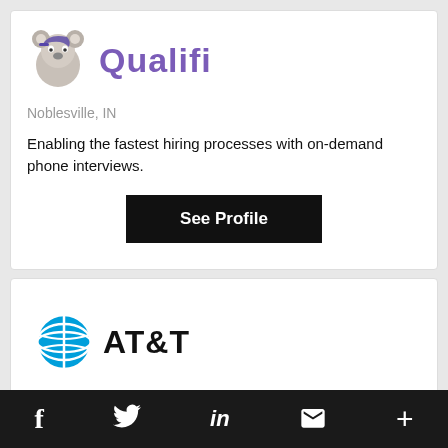[Figure (logo): Qualifi company logo with koala mascot and purple script text 'Qualifi']
Noblesville, IN
Enabling the fastest hiring processes with on-demand phone interviews.
See Profile
[Figure (logo): AT&T logo with blue globe icon and bold black text 'AT&T']
f  Twitter  in  envelope  +